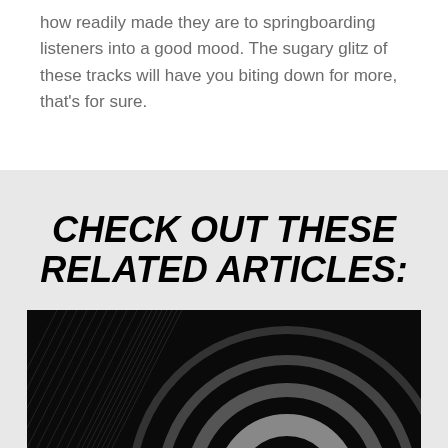how readily made they are to springboarding listeners into a good mood. The sugary glitz of these tracks will have you biting down for more, that's for sure.
CHECK OUT THESE RELATED ARTICLES:
[Figure (illustration): Black background image with concentric arc/circle design in gray tones and radiating diagonal lines on the left side]